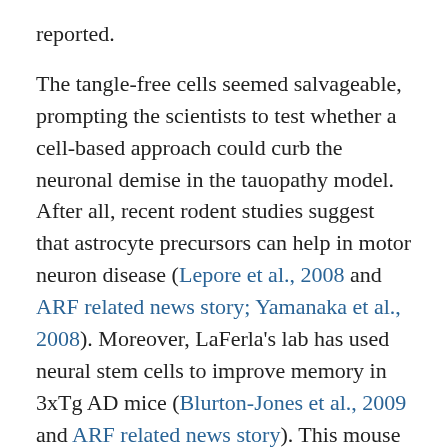reported.
The tangle-free cells seemed salvageable, prompting the scientists to test whether a cell-based approach could curb the neuronal demise in the tauopathy model. After all, recent rodent studies suggest that astrocyte precursors can help in motor neuron disease (Lepore et al., 2008 and ARF related news story; Yamanaka et al., 2008). Moreover, LaFerla's lab has used neural stem cells to improve memory in 3xTg AD mice (Blurton-Jones et al., 2009 and ARF related news story). This mouse line develops both amyloid and tau pathologies without obvious motor deficits, making it amenable to cognitive tests that require motor function.
Spillantini and colleagues tried a similar strategy in the P301S tauopathy mice, injecting fluorescent neural stem